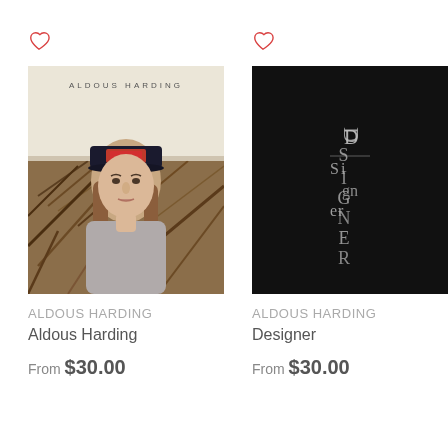[Figure (photo): Album cover photo of Aldous Harding – woman wearing red baseball cap outdoors with brush/field background, text 'ALDOUS HARDING' at top]
ALDOUS HARDING
Aldous Harding
From $30.00
[Figure (photo): Album cover for Designer by Aldous Harding – black square with stacked/overlapping letters spelling DESIGNER in silver/white]
ALDOUS HARDING
Designer
From $30.00